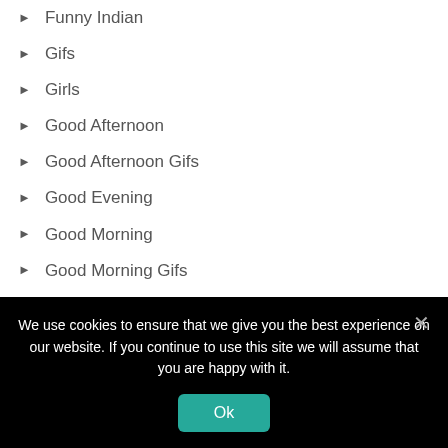Funny Indian
Gifs
Girls
Good Afternoon
Good Afternoon Gifs
Good Evening
Good Morning
Good Morning Gifs
Good Night
Good Night Gifs
Happy 4th of July
Happy Bhai Dooj
Happy Birthday
Happy Columbus Day
We use cookies to ensure that we give you the best experience on our website. If you continue to use this site we will assume that you are happy with it.
Ok